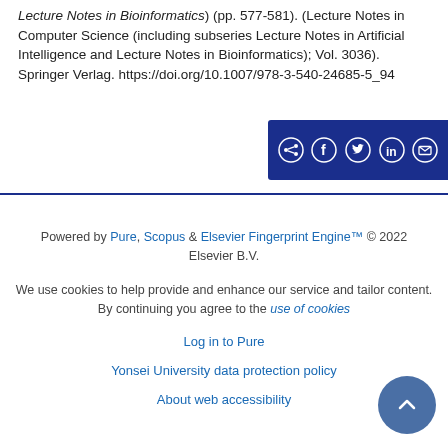Lecture Notes in Bioinformatics) (pp. 577-581). (Lecture Notes in Computer Science (including subseries Lecture Notes in Artificial Intelligence and Lecture Notes in Bioinformatics); Vol. 3036). Springer Verlag. https://doi.org/10.1007/978-3-540-24685-5_94
[Figure (infographic): Dark blue social sharing button bar with four circular icons: share, Facebook, Twitter, LinkedIn, and email on dark navy background]
Powered by Pure, Scopus & Elsevier Fingerprint Engine™ © 2022 Elsevier B.V.
We use cookies to help provide and enhance our service and tailor content. By continuing you agree to the use of cookies
Log in to Pure
Yonsei University data protection policy
About web accessibility